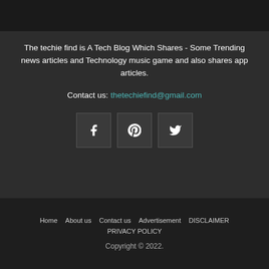[Figure (screenshot): Dark banner image at the top of the page]
The techie find is A Tech Blog Which Shares - Some Trending news articles and Technology music game and also shares app articles.
Contact us: thetechiefind@gmail.com
[Figure (infographic): Three social media icon buttons: Facebook (f), Pinterest (p), Twitter (bird icon), displayed as square boxes with dark background]
Home   About us   Contact us   Advertisement   DISCLAIMER   PRIVACY POLICY
Copyright © 2022.
write an essay for me | write my essay
[Figure (infographic): Social share bar with Twitter, LinkedIn, Pinterest, Facebook buttons and 0 SHARES count]